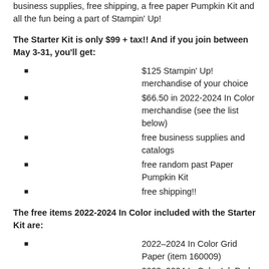business supplies, free shipping, a free paper Pumpkin Kit and all the fun being a part of Stampin' Up!
The Starter Kit is only $99 + tax!!  And if you join between May 3-31, you'll get:
$125 Stampin' Up! merchandise of your choice
$66.50 in 2022-2024 In Color merchandise (see the list below)
free business supplies and catalogs
free random past Paper Pumpkin Kit
free shipping!!
The free items 2022-2024 In Color included with the Starter Kit are:
2022–2024 In Color Grid Paper (item 160009)
2022–2024 In Color Ink Pad Collection (item 161108)
2022–2024 In Color Cardstock Collection (item 159204)